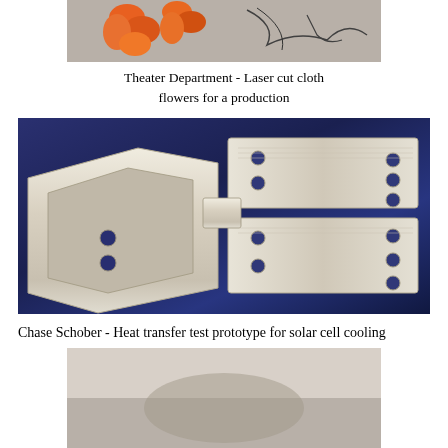[Figure (photo): Photo showing orange laser-cut cloth flowers and outline shapes on a gray surface]
Theater Department - Laser cut cloth flowers for a production
[Figure (photo): Photo of clear acrylic heat transfer test prototype parts for solar cell cooling, arranged on a blue surface]
Chase Schober - Heat transfer test prototype for solar cell cooling
[Figure (photo): Partial photo at bottom of page, cropped]